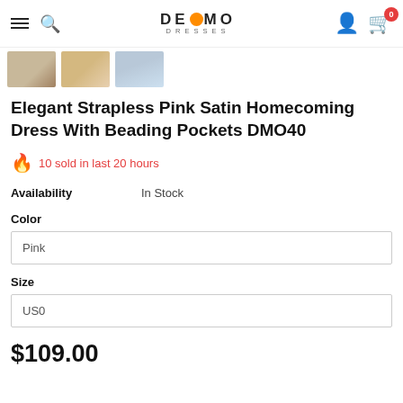DE•MO DRESSES — navigation header with hamburger, search, logo, user, cart (0)
[Figure (photo): Three small product thumbnail photos of a pink satin homecoming dress]
Elegant Strapless Pink Satin Homecoming Dress With Beading Pockets DMO40
🔥 10 sold in last 20 hours
Availability   In Stock
Color
Pink
Size
US0
$109.00